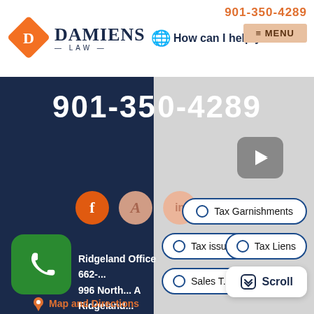[Figure (logo): Damiens Law logo with orange diamond shape and serif text]
901-350-4289
How can I help you?
MENU
901-350-4289
[Figure (other): Video play button icon (dark gray rounded square with white triangle)]
[Figure (other): Social media icons: Facebook (orange), A icon (peach), LinkedIn (peach)]
[Figure (other): Green phone app icon with white telephone handset]
Ridgeland Office
662-...
996 North... A
Ridgeland...
Tax Garnishments
Tax issues
Tax Liens
Sales T...
Scroll
Map and Directions